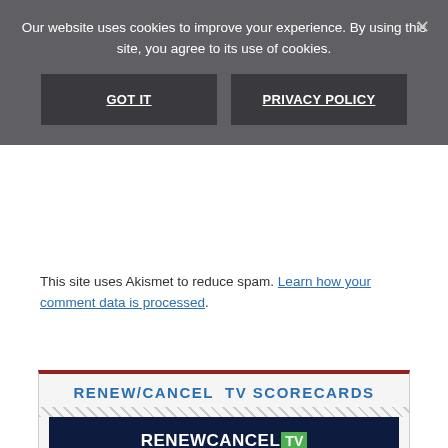Our website uses cookies to improve your experience. By using this site, you agree to its use of cookies.
[Figure (screenshot): Cookie banner with GOT IT and PRIVACY POLICY buttons on dark grey background]
This site uses Akismet to reduce spam. Learn how your comment data is processed.
[Figure (infographic): RENEW/CANCEL TV SCORECARDS widget with RenewCancelTV logo and TV SHOWS CANCELLED text on dark navy background]